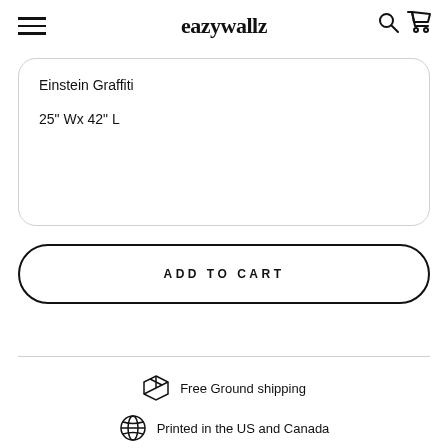eazywallz
Einstein Graffiti
25" Wx 42" L
ADD TO CART
Free Ground shipping
Printed in the US and Canada